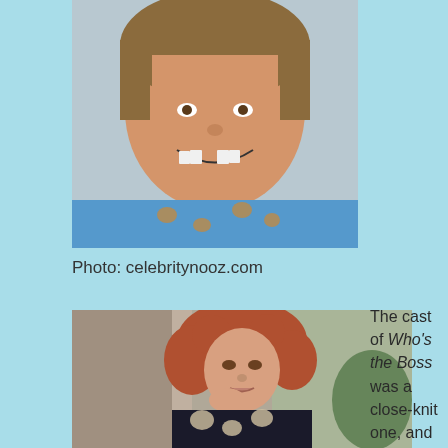[Figure (photo): Close-up photo of a young boy smiling, missing front teeth, wearing a blue patterned shirt]
Photo: celebritynooz.com
[Figure (photo): Photo of a woman with curly reddish-brown hair, resting her chin on her hand, wearing a floral patterned top]
The cast of Who's the Boss was a close-knit one, and they still